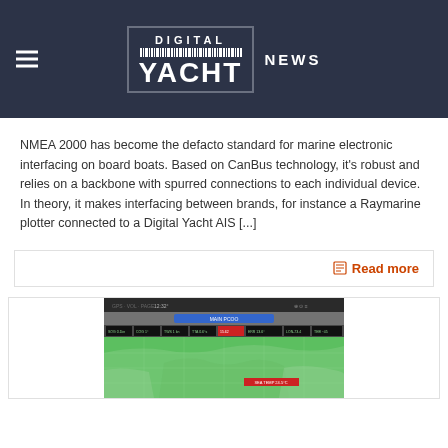Digital Yacht News
NMEA 2000 has become the defacto standard for marine electronic interfacing on board boats. Based on CanBus technology, it’s robust and relies on a backbone with spurred connections to each individual device. In theory, it makes interfacing between brands, for instance a Raymarine plotter connected to a Digital Yacht AIS [...]
Read more
[Figure (screenshot): Screenshot of a marine navigation app showing a green nautical chart with toolbars and data readouts]